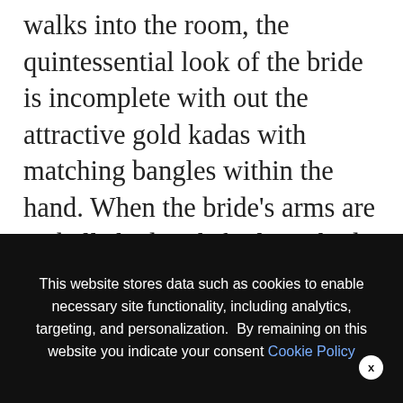walks into the room, the quintessential look of the bride is incomplete with out the attractive gold kadas with matching bangles within the hand. When the bride’s arms are embellished with fairly mehndi designs, the beautiful bridal bangles improve the great thing about her arms rather more. Identical to the opposite equipment of the brides, lovely bridal bangles are gaining reputation so as to
We use cookies on our website to give you the most relevant experience by remembering your preferences and repeat visits. By clicking “Accept All”, you consent to the use of ALL the cookies. However, you may visit “Cookie Settings” to provide a controlled consent.
This website stores data such as cookies to enable necessary site functionality, including analytics, targeting, and personalization. By remaining on this website you indicate your consent Cookie Policy